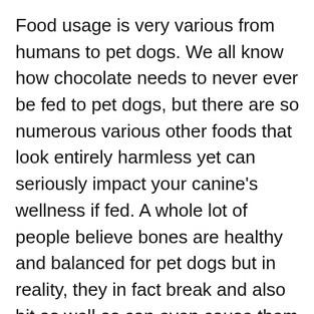Food usage is very various from humans to pet dogs. We all know how chocolate needs to never ever be fed to pet dogs, but there are so numerous various other foods that look entirely harmless yet can seriously impact your canine's wellness if fed. A whole lot of people believe bones are healthy and balanced for pet dogs but in reality, they in fact break and also bit as well as can even cause them to choke or puncture their intestinal tract.